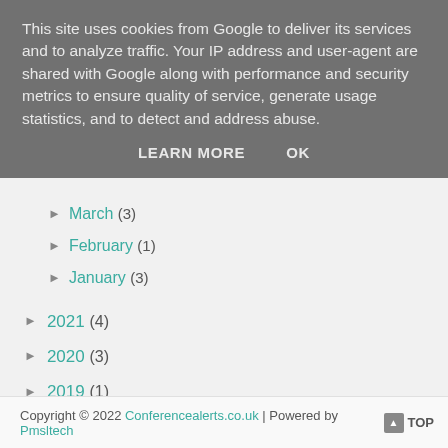This site uses cookies from Google to deliver its services and to analyze traffic. Your IP address and user-agent are shared with Google along with performance and security metrics to ensure quality of service, generate usage statistics, and to detect and address abuse.
LEARN MORE    OK
▶ March (3)
▶ February (1)
▶ January (3)
▶ 2021 (4)
▶ 2020 (3)
▶ 2019 (1)
▶ 2018 (1)
▶ 2016 (9)
▶ 2015 (2)
Copyright © 2022 Conferencealerts.co.uk | Powered by Pmsltech    ▲ TOP